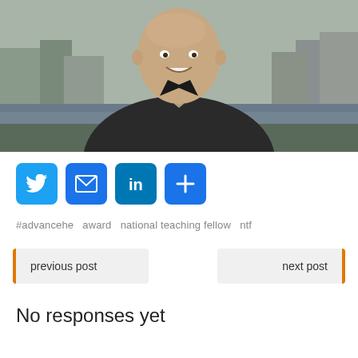[Figure (photo): Portrait photo of a smiling bald man wearing a dark suit jacket and silver/grey tie, photographed outdoors in front of a river and European town buildings.]
[Figure (infographic): Social sharing buttons: Twitter (blue bird icon), Email (blue envelope icon), LinkedIn (blue 'in' icon), Share/Plus (blue plus icon)]
#advancehe  award  national teaching fellow  ntf
previous post
next post
No responses yet